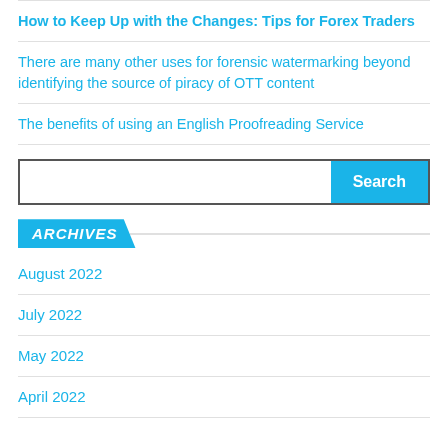How to Keep Up with the Changes: Tips for Forex Traders
There are many other uses for forensic watermarking beyond identifying the source of piracy of OTT content
The benefits of using an English Proofreading Service
[Figure (screenshot): Search input box with a cyan 'Search' button on the right]
ARCHIVES
August 2022
July 2022
May 2022
April 2022